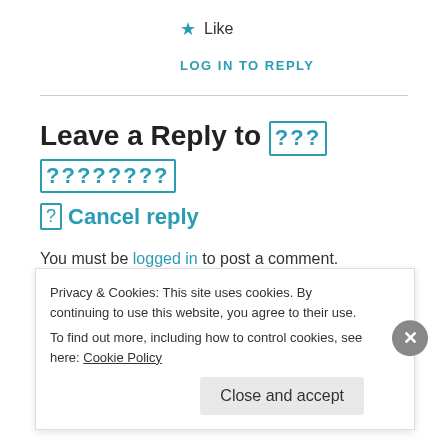★ Like
LOG IN TO REPLY
Leave a Reply to ??? ????????
? Cancel reply
You must be logged in to post a comment.
Privacy & Cookies: This site uses cookies. By continuing to use this website, you agree to their use.
To find out more, including how to control cookies, see here: Cookie Policy
Close and accept